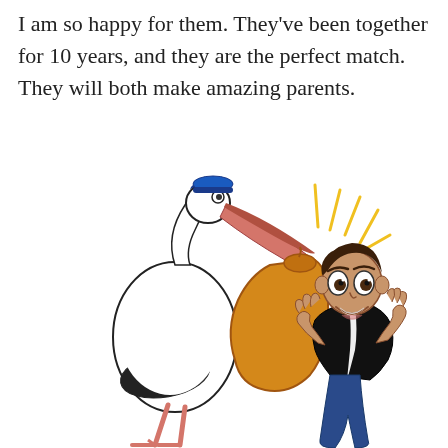I am so happy for them. They've been together for 10 years, and they are the perfect match. They will both make amazing parents.
[Figure (illustration): A cartoon illustration of a stork wearing a blue cap, carrying an orange bundle in its beak, standing next to a surprised and happy cartoon man in a black jacket with his hands raised to his face. Yellow sparkle lines radiate from the top right.]